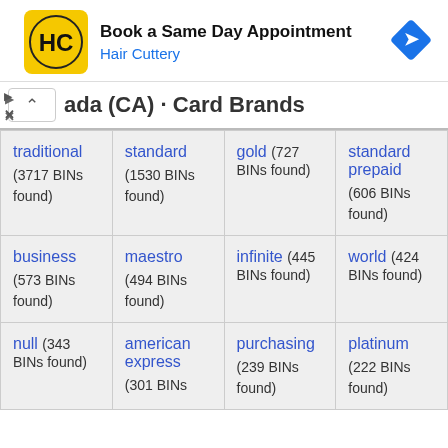[Figure (other): Hair Cuttery advertisement banner: logo (HC in yellow circle), text 'Book a Same Day Appointment / Hair Cuttery', and a blue navigation diamond icon]
ada (CA) · Card Brands
| traditional (3717 BINs found) | standard (1530 BINs found) | gold (727 BINs found) | standard prepaid (606 BINs found) |
| business (573 BINs found) | maestro (494 BINs found) | infinite (445 BINs found) | world (424 BINs found) |
| null (343 BINs found) | american express (301 BINs found) | purchasing (239 BINs found) | platinum (222 BINs found) |